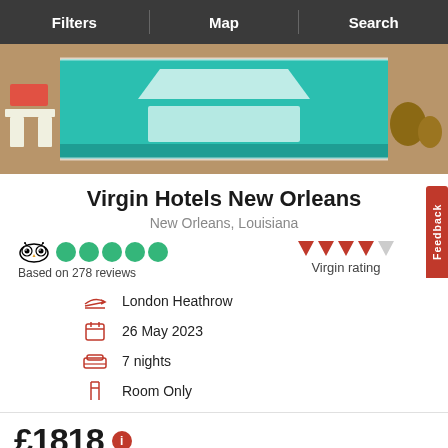Filters | Map | Search
[Figure (photo): Aerial view of a swimming pool with teal water and decorative patterns, surrounded by patio furniture]
Virgin Hotels New Orleans
New Orleans, Louisiana
Based on 278 reviews
Virgin rating
London Heathrow
26 May 2023
7 nights
Room Only
£1818